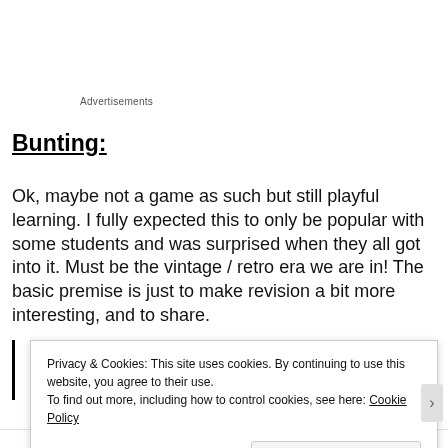Advertisements
Bunting:
Ok, maybe not a game as such but still playful learning. I fully expected this to only be popular with some students and was surprised when they all got into it. Must be the vintage / retro era we are in! The basic premise is just to make revision a bit more interesting, and to share.
Privacy & Cookies: This site uses cookies. By continuing to use this website, you agree to their use.
To find out more, including how to control cookies, see here: Cookie Policy
Close and accept